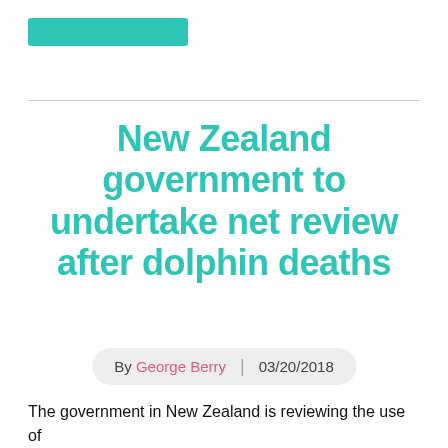New Zealand government to undertake net review after dolphin deaths
By George Berry | 03/20/2018
The government in New Zealand is reviewing the use of